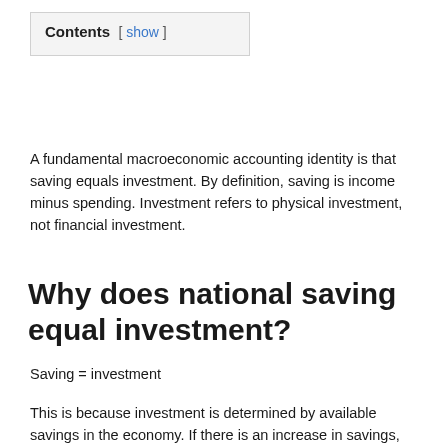Contents [ show ]
A fundamental macroeconomic accounting identity is that saving equals investment. By definition, saving is income minus spending. Investment refers to physical investment, not financial investment.
Why does national saving equal investment?
This is because investment is determined by available savings in the economy. If there is an increase in savings, then banks can lend